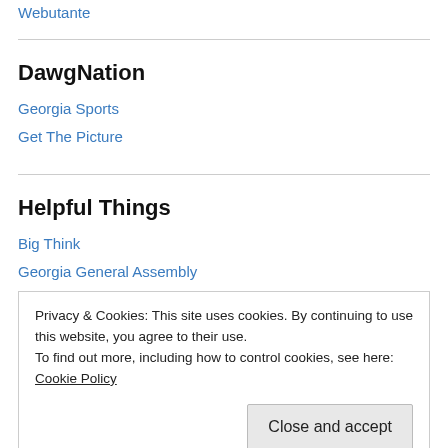Webutante
DawgNation
Georgia Sports
Get The Picture
Helpful Things
Big Think
Georgia General Assembly
Privacy & Cookies: This site uses cookies. By continuing to use this website, you agree to their use.
To find out more, including how to control cookies, see here: Cookie Policy
Yarn Harlot